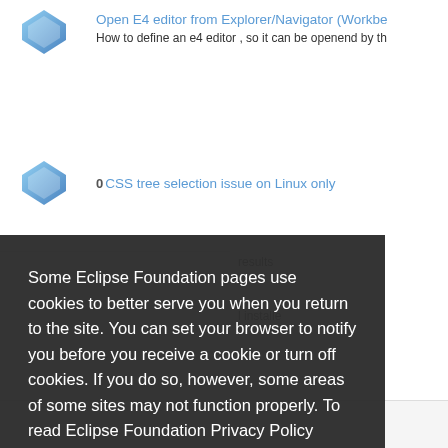Open E4 editor from Explorer/Navigator (Workbe... - How to define an e4 editor , so it can be openend by th
CSS tree selection issue on Linux only
results
l installe
Some Eclipse Foundation pages use cookies to better serve you when you return to the site. You can set your browser to notify you before you receive a cookie or turn off cookies. If you do so, however, some areas of some sites may not function properly. To read Eclipse Foundation Privacy Policy click here.
Decline
Allow cookies